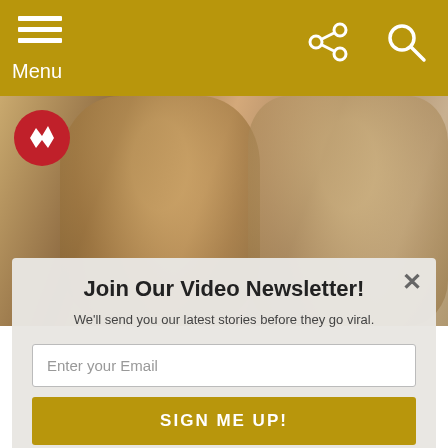Menu
[Figure (screenshot): Background photo of two people smiling, partially visible behind modal overlay]
[Figure (infographic): Newsletter signup modal overlay with title 'Join Our Video Newsletter!', subtitle text, email input field, and sign me up button]
The Tragic Death of Robert Urich & His Wife
by Facts Verse
about a year ago
[Figure (photo): Second article thumbnail photo strip at bottom]